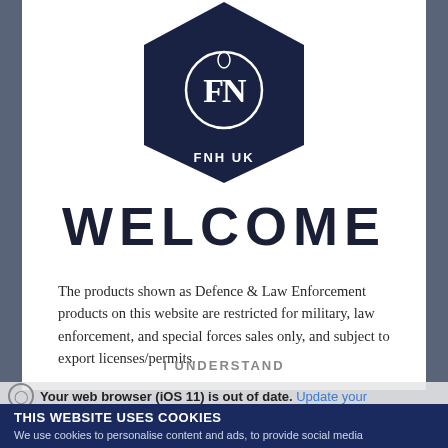[Figure (logo): FNH UK dark navy hexagon logo with ornate monogram FN lettering and 'FNH UK' text below]
WELCOME
The products shown as Defence & Law Enforcement products on this website are restricted for military, law enforcement, and special forces sales only, and subject to export licenses/permits.
I UNDERSTAND
Your web browser (iOS 11) is out of date. Update your
THIS WEBSITE USES COOKIES
We use cookies to personalise content and ads, to provide social media